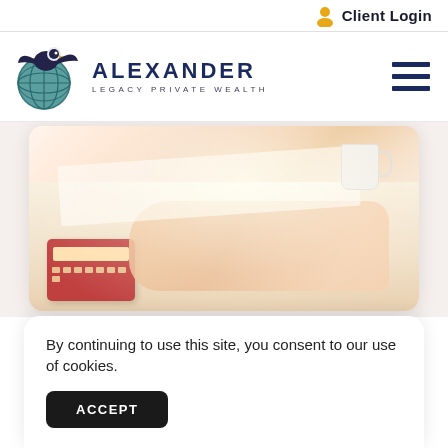Client Login
[Figure (logo): Alexander Legacy Private Wealth logo — eagle over a globe, dark navy and teal colors]
ALEXANDER
LEGACY PRIVATE WEALTH
[Figure (photo): Person in a white shirt writing/signing a document at a desk with a calculator and coffee cup]
By continuing to use this site, you consent to our use of cookies.
ACCEPT